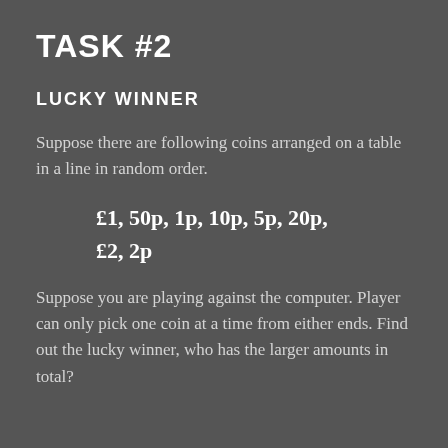TASK #2
LUCKY WINNER
Suppose there are following coins arranged on a table in a line in random order.
£1, 50p, 1p, 10p, 5p, 20p, £2, 2p
Suppose you are playing against the computer. Player can only pick one coin at a time from either ends. Find out the lucky winner, who has the larger amounts in total?